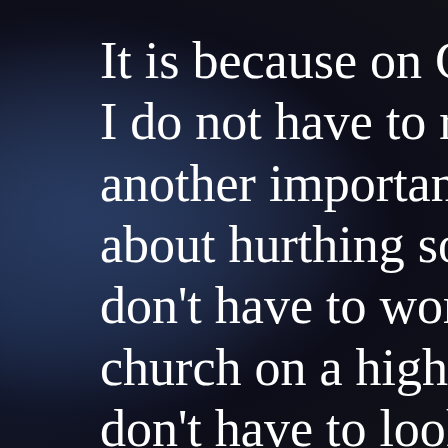It is because on Groundhogs' Day no o… I do not have to remember, at my peril, another important day in someone else'… about hurthing someone's feelings by f… don't have to worry that I may suffer a… church on a high holy day or for not ha… don't have to look for the card with the jingle or the phrase saying how much I they mean to me or about how much I l their birthday. I do not have to shop fo… on end only to find out - after shopping and remembering to give it on time - th…